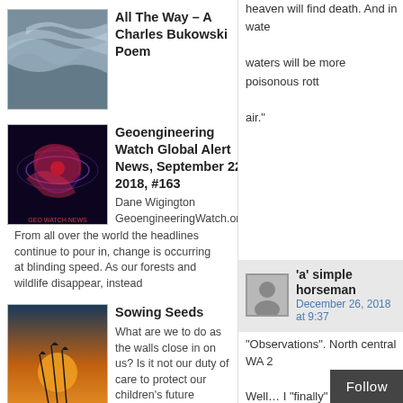heaven will find death. And in waters will be more poisonous rotto air."
[Figure (photo): Wavy cloud sky photo thumbnail for All The Way – A Charles Bukowski Poem]
All The Way – A Charles Bukowski Poem
[Figure (photo): Dark red/purple abstract image for Geoengineering Watch Global Alert News]
Geoengineering Watch Global Alert News, September 22, 2018, #163
Dane Wigington GeoengineeringWatch.org From all over the world the headlines continue to pour in, change is occurring at blinding speed. As our forests and wildlife disappear, instead
[Figure (photo): Silhouette of grass against sunset sky thumbnail for Sowing Seeds]
Sowing Seeds
What are we to do as the walls close in on us? Is it not our duty of care to protect our children's future and this
[Figure (photo): Sky with contrails thumbnail for Mirror, Mirror In The Sky]
Mirror, Mirror In The Sky
By Irene Parousis
"We're going to build a
'a' simple horseman
December 26, 2018 at 9:37
"Observations". North central WA 2 Well… I "finally" got a "sub"stantial snow. It was nowhere as slick as th we've had so far this year. It starte does the snow always start in the c above the cloud cover. "Just one". snowing those big hairy flakes for a constant but light snow fall. It kept few "odd" characteristics about this calm and constant which made for over to my job site w